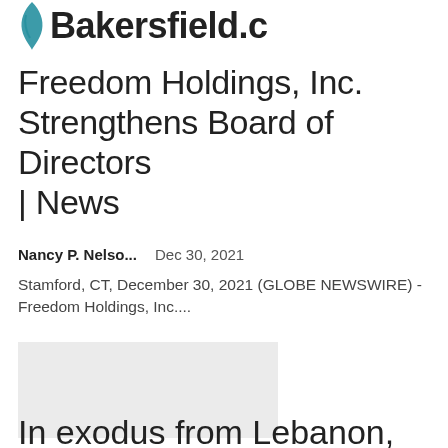Bakersfield.c
Freedom Holdings, Inc. Strengthens Board of Directors | News
Nancy P. Nelso...   Dec 30, 2021
Stamford, CT, December 30, 2021 (GLOBE NEWSWIRE) - Freedom Holdings, Inc....
[Figure (photo): Gray placeholder image block]
In exodus from Lebanon, the